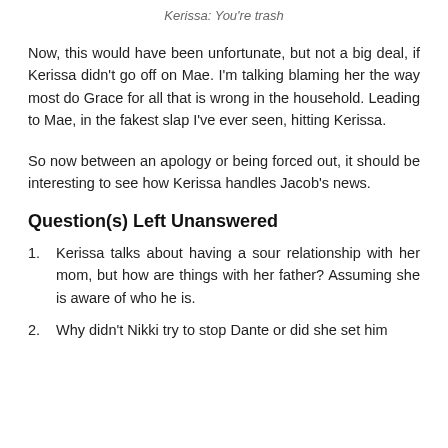Kerissa: You're trash
Now, this would have been unfortunate, but not a big deal, if Kerissa didn't go off on Mae. I'm talking blaming her the way most do Grace for all that is wrong in the household. Leading to Mae, in the fakest slap I've ever seen, hitting Kerissa.
So now between an apology or being forced out, it should be interesting to see how Kerissa handles Jacob's news.
Question(s) Left Unanswered
Kerissa talks about having a sour relationship with her mom, but how are things with her father? Assuming she is aware of who he is.
Why didn't Nikki try to stop Dante or did she set him